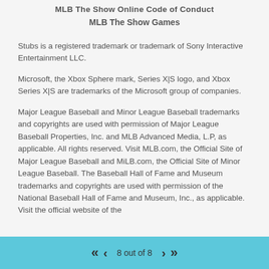MLB The Show Online Code of Conduct
MLB The Show Games
Stubs is a registered trademark or trademark of Sony Interactive Entertainment LLC.
Microsoft, the Xbox Sphere mark, Series X|S logo, and Xbox Series X|S are trademarks of the Microsoft group of companies.
Major League Baseball and Minor League Baseball trademarks and copyrights are used with permission of Major League Baseball Properties, Inc. and MLB Advanced Media, L.P, as applicable. All rights reserved. Visit MLB.com, the Official Site of Major League Baseball and MiLB.com, the Official Site of Minor League Baseball. The Baseball Hall of Fame and Museum trademarks and copyrights are used with permission of the National Baseball Hall of Fame and Museum, Inc., as applicable. Visit the official website of the
8 out of 8